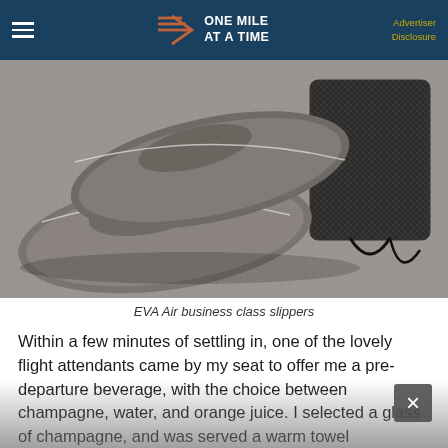ONE MILE AT A TIME — Advertiser Disclosure
[Figure (photo): EVA Air business class slippers — two grey fabric slippers laid flat on a grey textured surface with a black mesh drawstring pouch beside them]
EVA Air business class slippers
Within a few minutes of settling in, one of the lovely flight attendants came by my seat to offer me a pre-departure beverage, with the choice between champagne, water, and orange juice. I selected a glass of champagne, and was served a warm towel